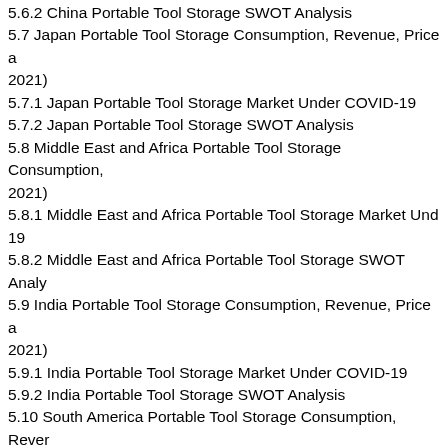5.6.2 China Portable Tool Storage SWOT Analysis
5.7 Japan Portable Tool Storage Consumption, Revenue, Price a 2021)
5.7.1 Japan Portable Tool Storage Market Under COVID-19
5.7.2 Japan Portable Tool Storage SWOT Analysis
5.8 Middle East and Africa Portable Tool Storage Consumption, 2021)
5.8.1 Middle East and Africa Portable Tool Storage Market Und 19
5.8.2 Middle East and Africa Portable Tool Storage SWOT Analy
5.9 India Portable Tool Storage Consumption, Revenue, Price a 2021)
5.9.1 India Portable Tool Storage Market Under COVID-19
5.9.2 India Portable Tool Storage SWOT Analysis
5.10 South America Portable Tool Storage Consumption, Rever 2021)
5.10.1 South America Portable Tool Storage Market Under COV 19
5.10.2 South America Portable Tool Storage SWOT Analysis
5.11 South Korea Portable Tool Storage Consumption, Revenu 2021)